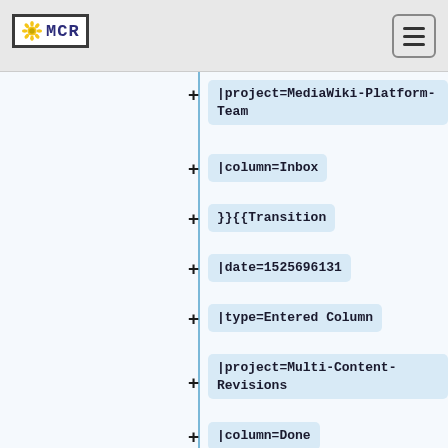[Figure (screenshot): MCR wiki logo in top-left navigation bar with hamburger menu icon top-right]
|project=MediaWiki-Platform-Team
|column=Inbox
}}{{Transition
|date=1525696131
|type=Entered Column
|project=Multi-Content-Revisions
|column=Done
}}{{Transition
|date=1525696131
|type=Exited Column
|project=Multi-Content-